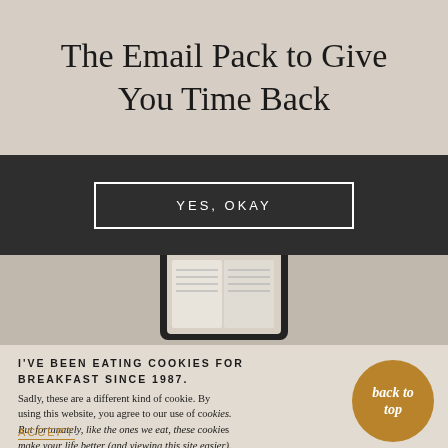The Email Pack to Give You Time Back
YES, OKAY
[Figure (photo): Top-down photo of a tablet device showing an open book/document, placed on a beige surface]
I'VE BEEN EATING COOKIES FOR BREAKFAST SINCE 1987.
Sadly, these are a different kind of cookie. By using this website, you agree to our use of cookies. But fortunately, like the ones we eat, these cookies make your life better (and viewing this site easier).
ACCEPT
back to top